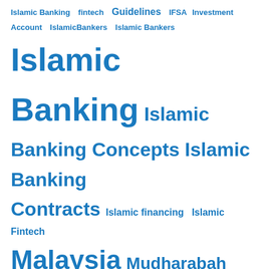Islamic Banking  fintech  Guidelines  IFSA  Investment Account  IslamicBankers  Islamic Bankers  Islamic Banking  Islamic Banking Concepts  Islamic Banking Contracts  Islamic financing  Islamic Fintech  Malaysia  Mudharabah  Murabaha  Musyaraka  Qardh  Questions and Answers  Research  Sharia Committee  Tawarruq  Wadiah  Wakala
RECENT COMMENTS
Amir Alfatakh on Risk Management in Islamic Banking
Malik Imtiaz Ahmad on Risk Management in Islamic Banking
best e wallet in pakistan on Bai Al Inah and Interconditionality Issues
cxjiek on Is There a Secret Book I Don't Know About?
Amir Alfatakh on Two Types of Rebate (Ibra') for Sale-Based Financing